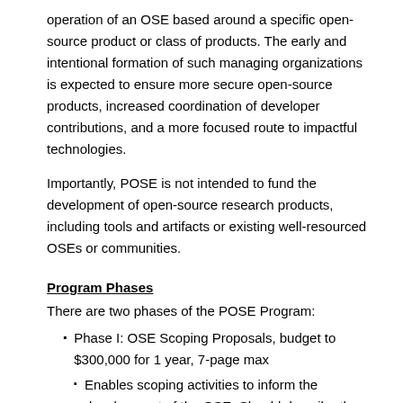operation of an OSE based around a specific open-source product or class of products. The early and intentional formation of such managing organizations is expected to ensure more secure open-source products, increased coordination of developer contributions, and a more focused route to impactful technologies.
Importantly, POSE is not intended to fund the development of open-source research products, including tools and artifacts or existing well-resourced OSEs or communities.
Program Phases
There are two phases of the POSE Program:
Phase I: OSE Scoping Proposals, budget to $300,000 for 1 year, 7-page max
Enables scoping activities to inform the development of the OSE. Should describe the long-term vision and impact of the proposed OSE, along with specific scoping activities that will lead to a well-developed and sustainable plan.